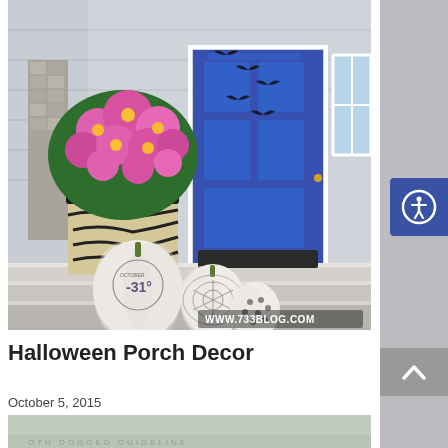[Figure (photo): Halloween porch scene with bright pink mums in a decorative pot with black and gold zebra-stripe wrap, three white painted pumpkins with decorative designs (one reads '-31' with October text, one has spider web design, one has polka dots), gray porch steps, bright blue front door with black bat silhouettes, and a doormat. Watermark reads www.733blog.com]
Halloween Porch Decor
October 5, 2015
[Figure (photo): Partial view of another image at the bottom of the page, appears to be another decorative scene, partially cut off]